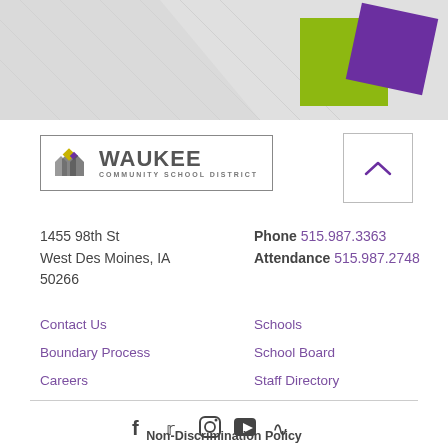[Figure (illustration): Waukee Community School District website footer header banner with decorative grey diagonal pattern and two overlapping diamond shapes in lime green and purple on the right side]
[Figure (logo): Waukee Community School District logo with stylized house/arrow icon in grey, yellow, and purple, with WAUKEE text in large grey letters and COMMUNITY SCHOOL DISTRICT below in smaller grey letters, enclosed in a rectangular border]
[Figure (other): Back to top button: square with grey border containing an upward-pointing caret chevron in purple]
1455 98th St
West Des Moines, IA
50266
Phone 515.987.3363
Attendance 515.987.2748
Contact Us
Boundary Process
Careers
Schools
School Board
Staff Directory
[Figure (other): Social media icons row: Facebook, Twitter, Instagram, YouTube, RSS feed]
Non-Discrimination Policy